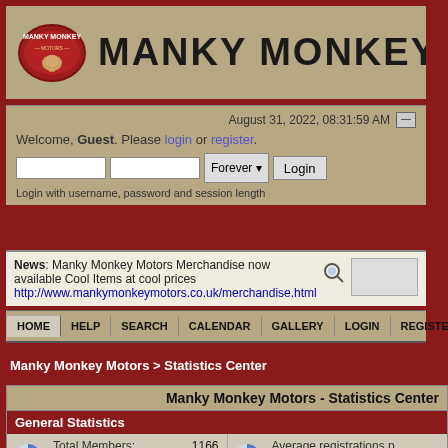[Figure (logo): Manky Monkey Motors red oval logo with monkey icon]
MANKY MONKEY
August 31, 2022, 08:31:59 AM
Welcome, Guest. Please login or register. Login with username, password and session length
News: Manky Monkey Motors Merchandise now available Cool Items at cool prices http://www.mankymonkeymotors.co.uk/merchandise.html
HOME  HELP  SEARCH  CALENDAR  GALLERY  LOGIN  REGISTER
Manky Monkey Motors > Statistics Center
Manky Monkey Motors - Statistics Center
General Statistics
| Label | Value | Label | Value |
| --- | --- | --- | --- |
| Total Members: | 1166 | Average registrations p |  |
| Total Posts: | 238174 | Average posts per day: |  |
| Total Topics: | 16905 | Average topics per day |  |
| Total Categories: | 5 | Total Boards: |  |
| Users Online: | 34 | Latest Member: |  |
| Most Online: | 589 - June 05, | Average online per day |  |
|  | 2021, 02:45:04 PM | Male to Female Ratio: |  |